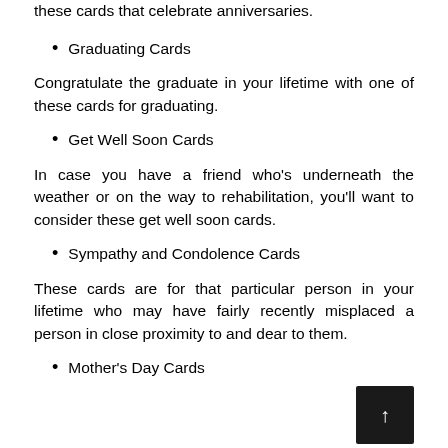these cards that celebrate anniversaries.
Graduating Cards
Congratulate the graduate in your lifetime with one of these cards for graduating.
Get Well Soon Cards
In case you have a friend who's underneath the weather or on the way to rehabilitation, you'll want to consider these get well soon cards.
Sympathy and Condolence Cards
These cards are for that particular person in your lifetime who may have fairly recently misplaced a person in close proximity to and dear to them.
Mother's Day Cards